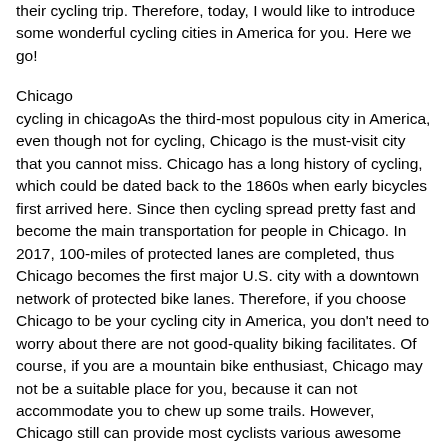their cycling trip. Therefore, today, I would like to introduce some wonderful cycling cities in America for you. Here we go!
Chicago
cycling in chicagoAs the third-most populous city in America, even though not for cycling, Chicago is the must-visit city that you cannot miss. Chicago has a long history of cycling, which could be dated back to the 1860s when early bicycles first arrived here. Since then cycling spread pretty fast and become the main transportation for people in Chicago. In 2017, 100-miles of protected lanes are completed, thus Chicago becomes the first major U.S. city with a downtown network of protected bike lanes. Therefore, if you choose Chicago to be your cycling city in America, you don't need to worry about there are not good-quality biking facilitates. Of course, if you are a mountain bike enthusiast, Chicago may not be a suitable place for you, because it can not accommodate you to chew up some trails. However, Chicago still can provide most cyclists various awesome pathways. There are some